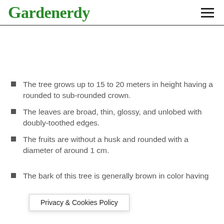Gardenerdy
The tree grows up to 15 to 20 meters in height having a rounded to sub-rounded crown.
The leaves are broad, thin, glossy, and unlobed with doubly-toothed edges.
The fruits are without a husk and rounded with a diameter of around 1 cm.
The bark of this tree is generally brown in color having … on it.
Privacy & Cookies Policy